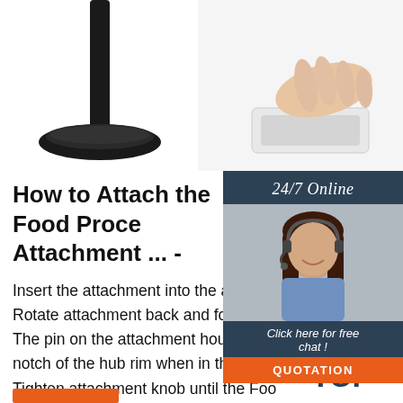[Figure (photo): Top portion: left side shows a black stand base on white background; right side shows a hand touching a white electronic device.]
[Figure (photo): Sidebar with dark blue background showing a smiling woman with headset (customer service), text '24/7 Online', 'Click here for free chat!', and orange QUOTATION button.]
How to Attach the Food Processor Attachment ... -
Insert the attachment into the attachment hub. Rotate attachment back and forth if necessary. The pin on the attachment housing will click into notch of the hub rim when in the proper position. Tighten attachment knob until the Food Processor attachment is completely secured to Stand Mixer. Place a bowl or container under the food exit chute.
[Figure (logo): Orange dots above 'TOP' text logo in dark blue, positioned bottom right.]